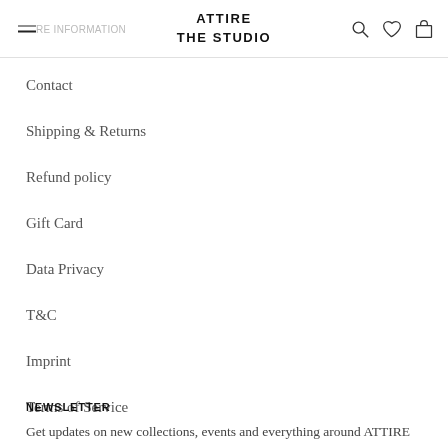ATTIRE THE STUDIO
Contact
Shipping & Returns
Refund policy
Gift Card
Data Privacy
T&C
Imprint
Terms of Service
Job Opportunities
NEWSLETTER
Get updates on new collections, events and everything around ATTIRE